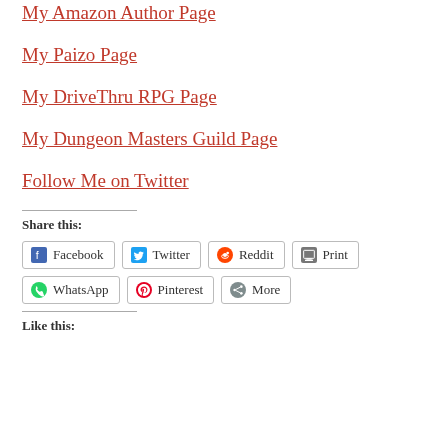My Amazon Author Page
My Paizo Page
My DriveThru RPG Page
My Dungeon Masters Guild Page
Follow Me on Twitter
Share this:
Facebook Twitter Reddit Print WhatsApp Pinterest More
Like this: